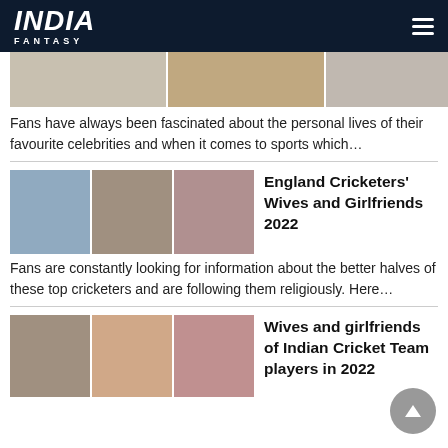INDIA FANTASY
[Figure (photo): Partial view of three celebrity/WAG photos at top of page]
Fans have always been fascinated about the personal lives of their favourite celebrities and when it comes to sports which…
[Figure (photo): Three photos of England cricketers with their wives and girlfriends]
England Cricketers' Wives and Girlfriends 2022
Fans are constantly looking for information about the better halves of these top cricketers and are following them religiously. Here…
[Figure (photo): Three photos of Indian cricket team players with their wives and girlfriends]
Wives and girlfriends of Indian Cricket Team players in 2022